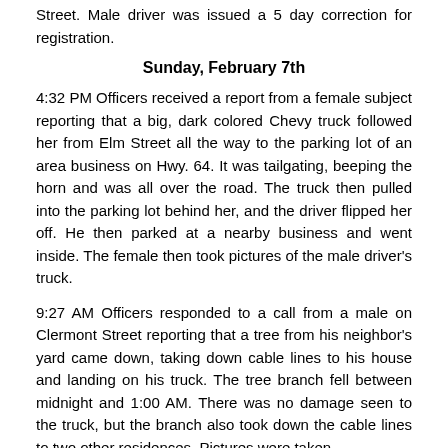Street. Male driver was issued a 5 day correction for registration.
Sunday, February 7th
4:32 PM Officers received a report from a female subject reporting that a big, dark colored Chevy truck followed her from Elm Street all the way to the parking lot of an area business on Hwy. 64. It was tailgating, beeping the horn and was all over the road. The truck then pulled into the parking lot behind her, and the driver flipped her off. He then parked at a nearby business and went inside. The female then took pictures of the male driver's truck.
9:27 AM Officers responded to a call from a male on Clermont Street reporting that a tree from his neighbor's yard came down, taking down cable lines to his house and landing on his truck. The tree branch fell between midnight and 1:00 AM. There was no damage seen to the truck, but the branch also took down the cable lines to two other residences. Pictures were taken.
8:44 AM Officers stopped a vehicle on Superior Street. Female